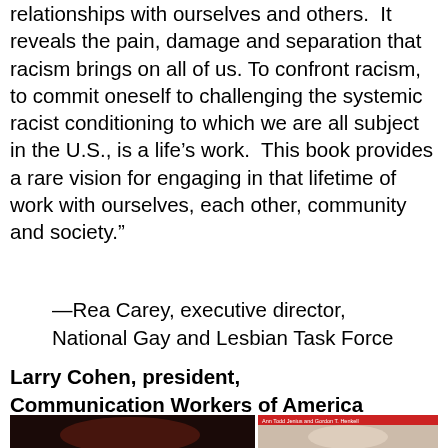relationships with ourselves and others.  It reveals the pain, damage and separation that racism brings on all of us. To confront racism, to commit oneself to challenging the systemic racist conditioning to which we are all subject in the U.S., is a life’s work.  This book provides a rare vision for engaging in that lifetime of work with ourselves, each other, community and society.”
—Rea Carey, executive director, National Gay and Lesbian Task Force
Larry Cohen, president, Communication Workers of America
[Figure (photo): Partial book cover image showing a dark photo on the left side and a lighter photo on the right side, with a red banner at the top right showing author names 'Ann Todd Jenius and Gordon T. Henkell']